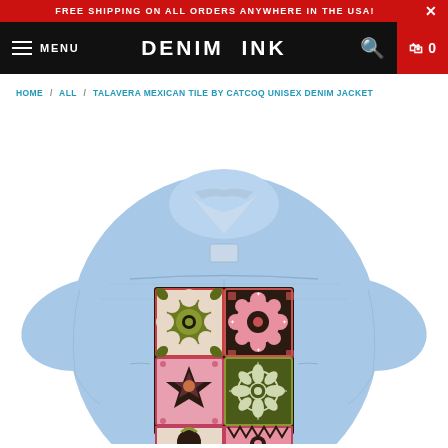FREE SHIPPING ON ALL ORDERS ANYWHERE IN THE USA!
DENIM INK  MENU
HOME / ALL / TALAVERA MEXICAN TILE BY CATCOQ UNISEX DENIM JACKET
[Figure (photo): Back view of a light blue denim jacket with a Talavera Mexican tile print on the back panel showing colorful ornamental tiles in green, pink and dark brown/black with floral and star patterns arranged in a 2x3 grid]